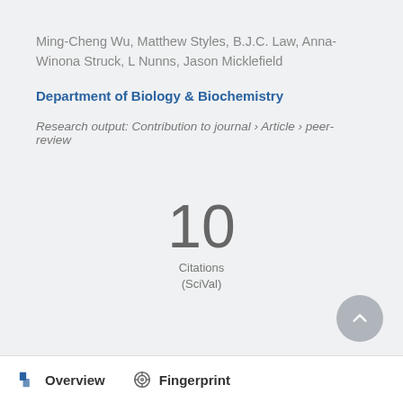Ming-Cheng Wu, Matthew Styles, B.J.C. Law, Anna-Winona Struck, L Nunns, Jason Micklefield
Department of Biology & Biochemistry
Research output: Contribution to journal › Article › peer-review
10
Citations
(SciVal)
Overview   Fingerprint